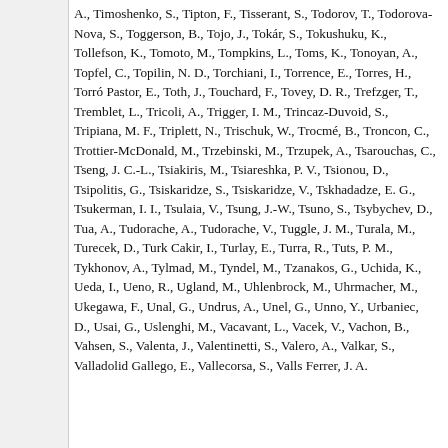A., Timoshenko, S., Tipton, F., Tisserant, S., Todorov, T., Todorova-Nova, S., Toggerson, B., Tojo, J., Tokár, S., Tokushuku, K., Tollefson, K., Tomoto, M., Tompkins, L., Toms, K., Tonoyan, A., Topfel, C., Topilin, N. D., Torchiani, I., Torrence, E., Torres, H., Torró Pastor, E., Toth, J., Touchard, F., Tovey, D. R., Trefzger, T., Tremblet, L., Tricoli, A., Trigger, I. M., Trincaz-Duvoid, S., Tripiana, M. F., Triplett, N., Trischuk, W., Trocmé, B., Troncon, C., Trottier-McDonald, M., Trzebinski, M., Trzupek, A., Tsarouchas, C., Tseng, J. C.-L., Tsiakiris, M., Tsiareshka, P. V., Tsionou, D., Tsipolitis, G., Tsiskaridze, S., Tsiskaridze, V., Tskhadadze, E. G., Tsukerman, I. I., Tsulaia, V., Tsung, J.-W., Tsuno, S., Tsybychev, D., Tua, A., Tudorache, A., Tudorache, V., Tuggle, J. M., Turala, M., Turecek, D., Turk Cakir, I., Turlay, E., Turra, R., Tuts, P. M., Tykhonov, A., Tylmad, M., Tyndel, M., Tzanakos, G., Uchida, K., Ueda, I., Ueno, R., Ugland, M., Uhlenbrock, M., Uhrmacher, M., Ukegawa, F., Unal, G., Undrus, A., Unel, G., Unno, Y., Urbaniec, D., Usai, G., Uslenghi, M., Vacavant, L., Vacek, V., Vachon, B., Vahsen, S., Valenta, J., Valentinetti, S., Valero, A., Valkar, S., Valladolid Gallego, E., Vallecorsa, S., Valls Ferrer, J. A.